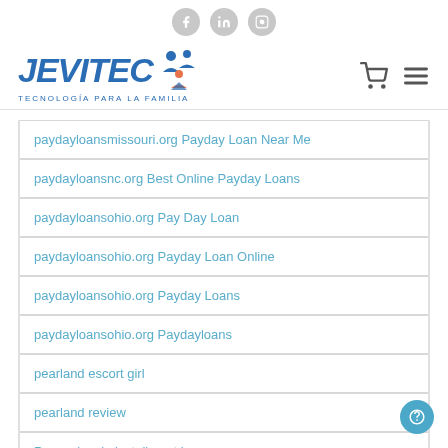JEVITEC – TECNOLOGÍA PARA LA FAMILIA (website header with social icons, logo, cart and menu)
paydayloansmissouri.org Payday Loan Near Me
paydayloansnc.org Best Online Payday Loans
paydayloansohio.org Pay Day Loan
paydayloansohio.org Payday Loan Online
paydayloansohio.org Payday Loans
paydayloansohio.org Paydayloans
pearland escort girl
pearland review
Pennsylvania installment loans